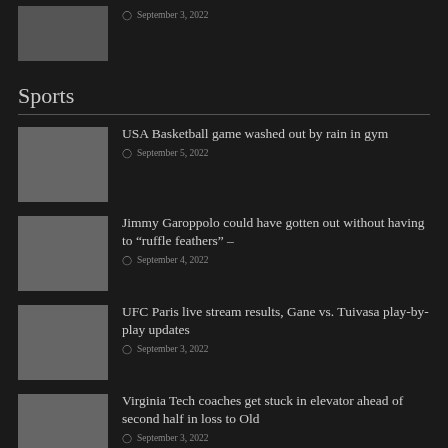[Figure (photo): Thumbnail image at top, partially visible]
September 3, 2022
Sports
[Figure (photo): Thumbnail for USA Basketball article]
USA Basketball game washed out by rain in gym
September 5, 2022
[Figure (photo): Thumbnail for Jimmy Garoppolo article]
Jimmy Garoppolo could have gotten out without having to “ruffle feathers” –
September 4, 2022
[Figure (photo): Thumbnail for UFC Paris article]
UFC Paris live stream results, Gane vs. Tuivasa play-by-play updates
September 3, 2022
[Figure (photo): Thumbnail for Virginia Tech article]
Virginia Tech coaches get stuck in elevator ahead of second half in loss to Old
September 3, 2022